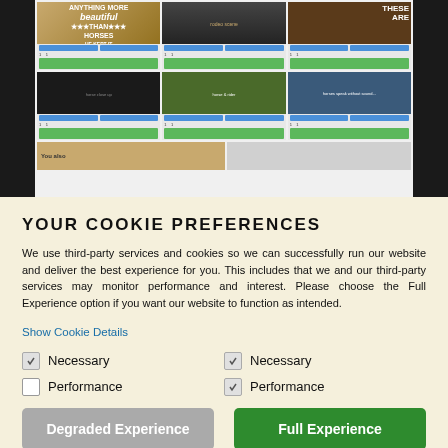[Figure (screenshot): Screenshot of a website showing a grid of horse-themed images with social sharing buttons and controls]
YOUR COOKIE PREFERENCES
We use third-party services and cookies so we can successfully run our website and deliver the best experience for you. This includes that we and our third-party services may monitor performance and interest. Please choose the Full Experience option if you want our website to function as intended.
Show Cookie Details
Necessary
Performance
Necessary
Performance